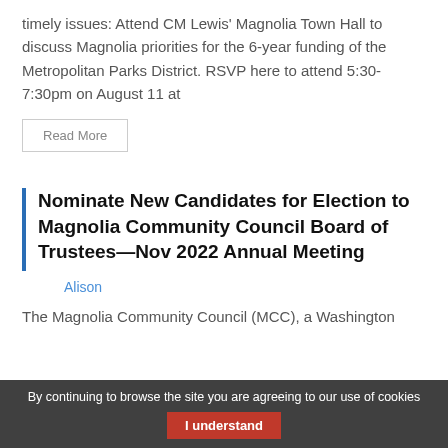timely issues: Attend CM Lewis' Magnolia Town Hall to discuss Magnolia priorities for the 6-year funding of the Metropolitan Parks District. RSVP here to attend 5:30-7:30pm on August 11 at
Read More
Nominate New Candidates for Election to Magnolia Community Council Board of Trustees—Nov 2022 Annual Meeting
Alison
The Magnolia Community Council (MCC), a Washington
By continuing to browse the site you are agreeing to our use of cookies  I understand